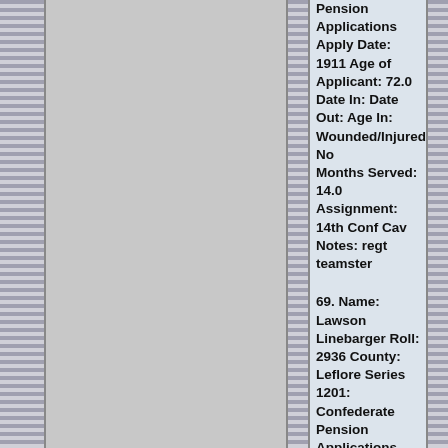Pension Applications Apply Date: 1911 Age of Applicant: 72.0 Date In: Date Out: Age In: Wounded/Injured: No Months Served: 14.0 Assignment: 14th Conf Cav Notes: regt teamster
69. Name: Lawson Linebarger Roll: 2936 County: Leflore Series 1201: Confederate Pension Applications Apply Date: 1906 Age of Applicant: 80.0 Date In: 1861 Date Out: 1865 Age In: 35.0 Wounded/Injured: No Months Served: 48.0 Assignment: 6th Miss Cav
70. Name: Alfred Lipsey Roll: 2936 County: Montgomery Series 1201: